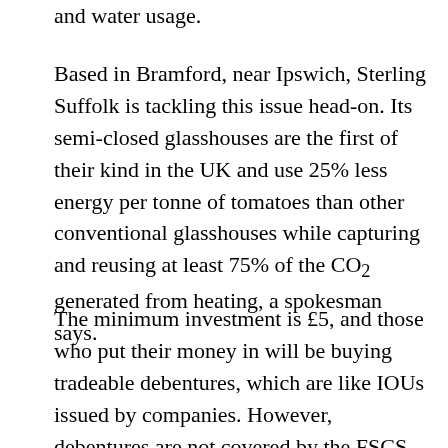and water usage.
Based in Bramford, near Ipswich, Sterling Suffolk is tackling this issue head-on. Its semi-closed glasshouses are the first of their kind in the UK and use 25% less energy per tonne of tomatoes than other conventional glasshouses while capturing and reusing at least 75% of the CO₂ generated from heating, a spokesman says.
The minimum investment is £5, and those who put their money in will be buying tradeable debentures, which are like IOUs issued by companies. However, debentures are not covered by the FSCS or the FOS and, again,